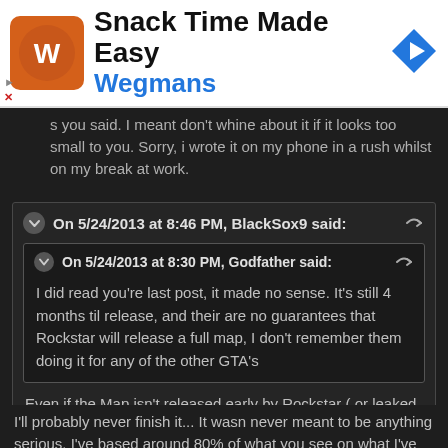[Figure (other): Wegmans advertisement banner with logo, 'Snack Time Made Easy' title, 'Wegmans' subtitle, and navigation arrow icon]
s you said. I meant don't whine about it if it looks too small to you. Sorry, i wrote it on my phone in a rush whilst on my break at work.
On 5/24/2013 at 8:46 PM, BlackSox9 said:
On 5/24/2013 at 8:30 PM, Godfather said:
I did read you're last post, it made no sense. It's still 4 months til release, and their are no guarantees that Rockstar will release a full map, I don't remember them doing it for any of the other GTA's
Even if the Map isn't released early by Rockstar ( or leaked ), GTA V's release date is only 4 months away.
Plus Dups map makes me cry every time I look at it. It can't be that barren, sparse and desolate. It was promised that GTA V's game world would be the best GTA game world yet...
I'll probably never finish it... It wasn never meant to be anything serious. I've based around 80% of what you see on what I've seen in screenshots and whatnot... The rest i just improvised, mainly for the